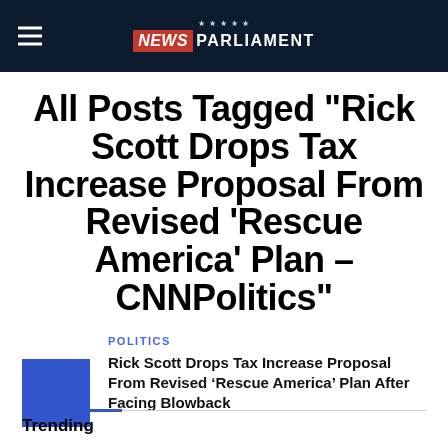NEWS PARLIAMENT
All Posts Tagged "Rick Scott Drops Tax Increase Proposal From Revised 'Rescue America' Plan – CNNPolitics"
POLITICS
Rick Scott Drops Tax Increase Proposal From Revised ‘Rescue America’ Plan After Facing Blowback
Trending